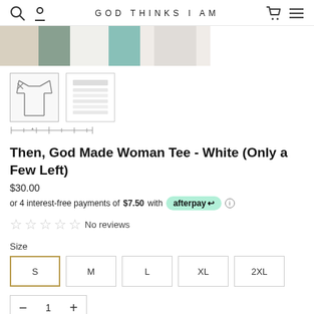GOD THINKS I AM
[Figure (screenshot): Three product thumbnail images showing a white tee shirt in different shots]
[Figure (screenshot): Two small product thumbnail images: white tee outline and size chart lines]
Then, God Made Woman Tee - White (Only a Few Left)
$30.00
or 4 interest-free payments of $7.50 with afterpay
☆☆☆☆☆ No reviews
Size
S  M  L  XL  2XL
− 1 +